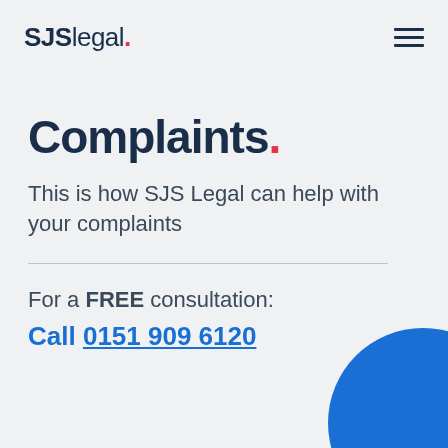SJSlegal.
Complaints.
This is how SJS Legal can help with your complaints
For a FREE consultation: Call 0151 909 6120
[Figure (illustration): Blue circle decorative element in bottom right corner]